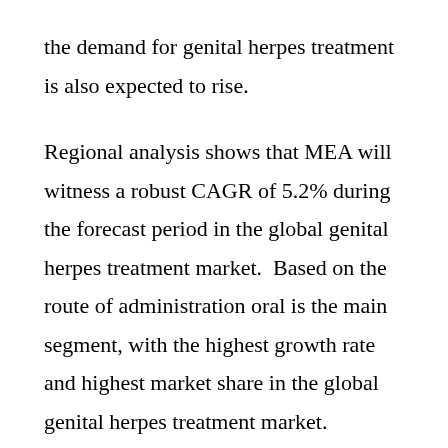the demand for genital herpes treatment is also expected to rise.
Regional analysis shows that MEA will witness a robust CAGR of 5.2% during the forecast period in the global genital herpes treatment market.  Based on the route of administration oral is the main segment, with the highest growth rate and highest market share in the global genital herpes treatment market.